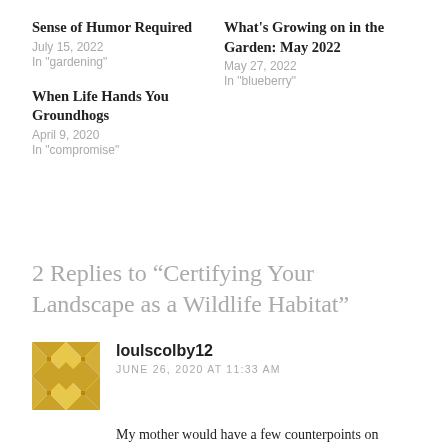Sense of Humor Required
July 15, 2022
In "gardening"
What's Growing on in the Garden: May 2022
May 27, 2022
In "blueberry"
When Life Hands You Groundhogs
April 9, 2020
In "compromise"
2 Replies to “Certifying Your Landscape as a Wildlife Habitat”
loulscolby12
JUNE 26, 2020 AT 11:33 AM
My mother would have a few counterpoints on wildlife and gardens co-existing! She loved both